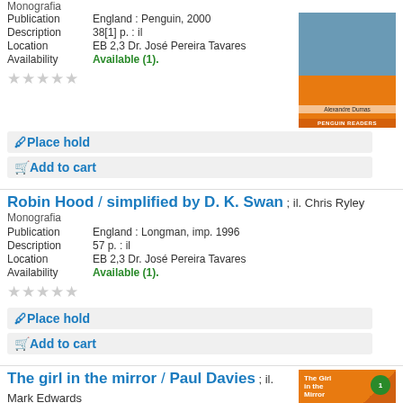Monografia
Publication: England : Penguin, 2000
Description: 38[1] p. : il
Location: EB 2,3 Dr. José Pereira Tavares
Availability: Available (1).
[Figure (photo): Book cover image for Alexandre Dumas Penguin Readers edition showing historical figures in black costumes]
Place hold
Add to cart
Robin Hood / simplified by D. K. Swan ; il. Chris Ryley
Monografia
Publication: England : Longman, imp. 1996
Description: 57 p. : il
Location: EB 2,3 Dr. José Pereira Tavares
Availability: Available (1).
Place hold
Add to cart
The girl in the mirror / Paul Davies ; il. Mark Edwards
Monografia
Publication: Oxford : Oxford University Press, 1997
[Figure (photo): Book cover for The Girl in the Mirror by Paul Davies, Mill series, showing abstract orange shapes with green circle badge]